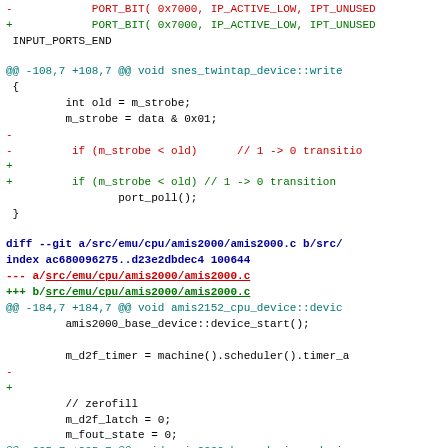- PORT_BIT( 0x7000, IP_ACTIVE_LOW, IPT_UNUSED
+ PORT_BIT( 0x7000, IP_ACTIVE_LOW, IPT_UNUSED
 INPUT_PORTS_END
@@ -108,7 +108,7 @@ void snes_twintap_device::write
 {
         int old = m_strobe;
         m_strobe = data & 0x01;
-
-         if (m_strobe < old)      // 1 -> 0 transitio
+
+         if (m_strobe < old) // 1 -> 0 transition
                 port_poll();
 }
diff --git a/src/emu/cpu/amis2000/amis2000.c b/src/
index ac680096275..d23e2dbdec4 100644
--- a/src/emu/cpu/amis2000/amis2000.c
+++ b/src/emu/cpu/amis2000/amis2000.c
@@ -184,7 +184,7 @@ void amis2152_cpu_device::devic
         amis2000_base_device::device_start();

         m_d2f_timer = machine().scheduler().timer_a
-
+
         // zerofill
         m_d2f_latch = 0;
         m_fout_state = 0;
@@ -205,7 +205,7 @@ void amis2000_base_device::devi